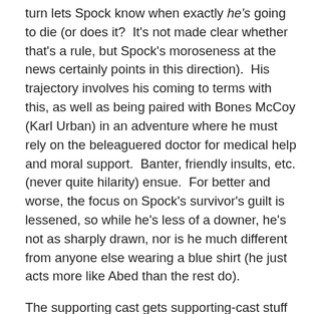turn lets Spock know when exactly he's going to die (or does it?  It's not made clear whether that's a rule, but Spock's moroseness at the news certainly points in this direction).  His trajectory involves his coming to terms with this, as well as being paired with Bones McCoy (Karl Urban) in an adventure where he must rely on the beleaguered doctor for medical help and moral support.  Banter, friendly insults, etc. (never quite hilarity) ensue.  For better and worse, the focus on Spock's survivor's guilt is lessened, so while he's less of a downer, he's not as sharply drawn, nor is he much different from anyone else wearing a blue shirt (he just acts more like Abed than the rest do).
The supporting cast gets supporting-cast stuff to do, while their collective conflict surrounds escaping a planet that has become something of a ship graveyard after the